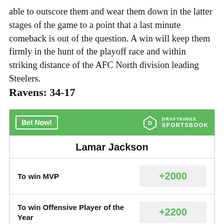able to outscore them and wear them down in the latter stages of the game to a point that a last minute comeback is out of the question. A win will keep them firmly in the hunt of the playoff race and within striking distance of the AFC North division leading Steelers.
Ravens:  34-17
| Bet | Odds |
| --- | --- |
| Lamar Jackson |  |
| To win MVP | +2000 |
| To win Offensive Player of the Year | +2200 |
| Most Passing Yards in | +5000 |